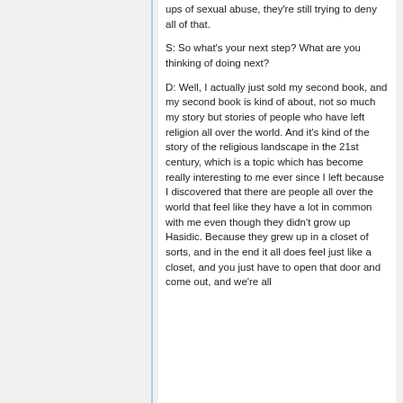ups of sexual abuse, they're still trying to deny all of that.
S: So what's your next step? What are you thinking of doing next?
D: Well, I actually just sold my second book, and my second book is kind of about, not so much my story but stories of people who have left religion all over the world. And it's kind of the story of the religious landscape in the 21st century, which is a topic which has become really interesting to me ever since I left because I discovered that there are people all over the world that feel like they have a lot in common with me even though they didn't grow up Hasidic. Because they grew up in a closet of sorts, and in the end it all does feel just like a closet, and you just have to open that door and come out, and we're all